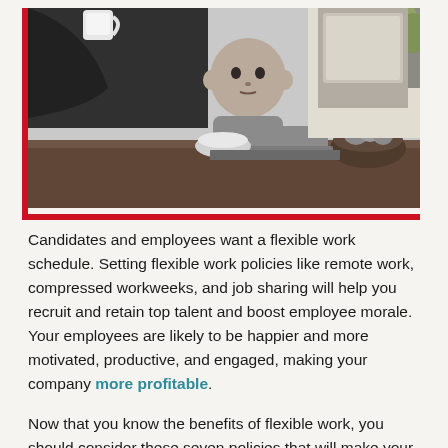[Figure (photo): Black and white photo of an adult drinking from a mug while a young child sits on the table next to an open laptop in a kitchen setting.]
Candidates and employees want a flexible work schedule. Setting flexible work policies like remote work, compressed workweeks, and job sharing will help you recruit and retain top talent and boost employee morale. Your employees are likely to be happier and more motivated, productive, and engaged, making your company more profitable.
Now that you know the benefits of flexible work, you should consider these seven policies that will make your company more attractive to candidates and employees: